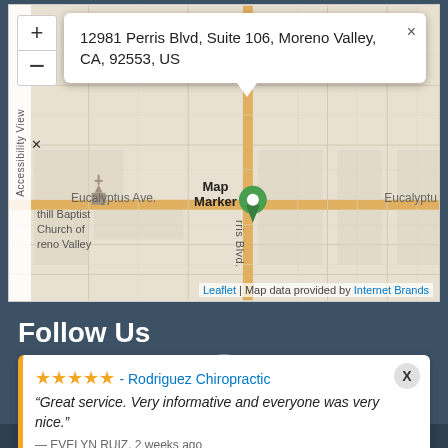[Figure (map): Interactive Leaflet map showing location at 12981 Perris Blvd, Suite 106, Moreno Valley, CA 92553, US. Map shows Eucalyptus Ave, Perris Blvd intersection, with a map marker pin. Popup tooltip displays the address. Map data provided by Internet Brands.]
Follow Us
★★★★★ - Rodriguez Chiropractic
"Great service. Very informative and everyone was very nice."
— EVELYN RUIZ, 2 weeks ago
⚡ by Review Wave